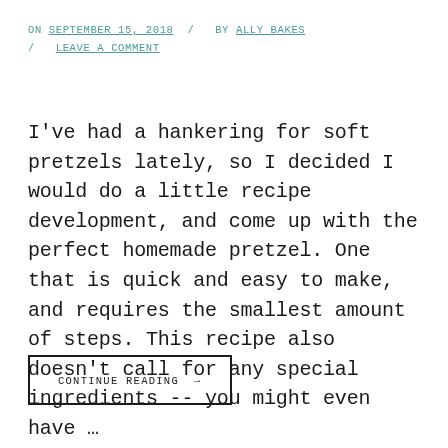ON SEPTEMBER 15, 2018 / BY ALLY BAKES / LEAVE A COMMENT
I've had a hankering for soft pretzels lately, so I decided I would do a little recipe development, and come up with the perfect homemade pretzel. One that is quick and easy to make, and requires the smallest amount of steps. This recipe also doesn't call for any special ingredients -- you might even have …
CONTINUE READING →